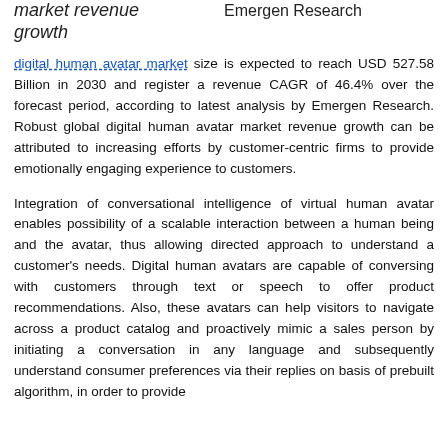market revenue growth   Emergen Research
digital human avatar market size is expected to reach USD 527.58 Billion in 2030 and register a revenue CAGR of 46.4% over the forecast period, according to latest analysis by Emergen Research. Robust global digital human avatar market revenue growth can be attributed to increasing efforts by customer-centric firms to provide emotionally engaging experience to customers.
Integration of conversational intelligence of virtual human avatar enables possibility of a scalable interaction between a human being and the avatar, thus allowing directed approach to understand a customer's needs. Digital human avatars are capable of conversing with customers through text or speech to offer product recommendations. Also, these avatars can help visitors to navigate across a product catalog and proactively mimic a sales person by initiating a conversation in any language and subsequently understand consumer preferences via their replies on basis of prebuilt algorithm, in order to provide